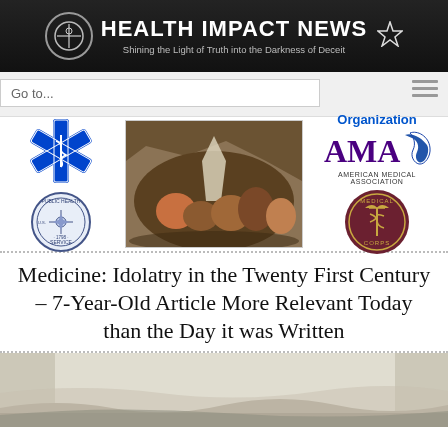HEALTH IMPACT NEWS – Shining the Light of Truth into the Darkness of Deceit
[Figure (screenshot): Navigation bar with Go to... dropdown and hamburger menu]
[Figure (infographic): Medical organization logos: Star of Life, US Public Health Service badge on the left; historical painting in center; AMA and Medical Corps logos on the right, with 'Organization' text label]
Medicine: Idolatry in the Twenty First Century – 7-Year-Old Article More Relevant Today than the Day it was Written
[Figure (illustration): Bottom partial image showing a black and white illustration]